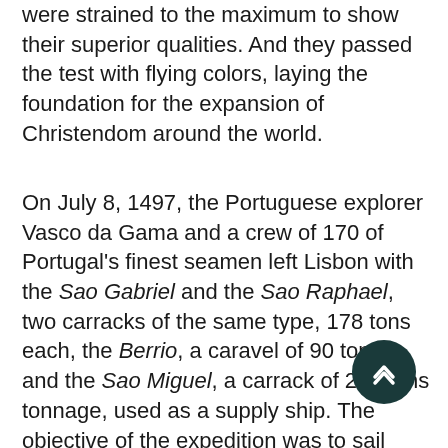were strained to the maximum to show their superior qualities. And they passed the test with flying colors, laying the foundation for the expansion of Christendom around the world.
On July 8, 1497, the Portuguese explorer Vasco da Gama and a crew of 170 of Portugal's finest seamen left Lisbon with the Sao Gabriel and the Sao Raphael, two carracks of the same type, 178 tons each, the Berrio, a caravel of 90 tons, and the Sao Miguel, a carrack of 200 tons tonnage, used as a supply ship. The objective of the expedition was to sail around Africa and reached India. The first two carracks, The Sao Gabriel and the Sao Raphael, were very special; their construction was based on recommendations – and also overseen – by Bartolomeu Dias, another captain who 10 years earlier had reached the southern tip of Africa and had